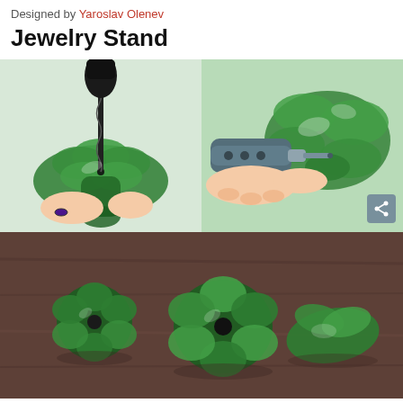Designed by Yaroslav Olenev
Jewelry Stand
[Figure (photo): Two side-by-side photos showing hands using a drill to make a hole through the bottom of a green plastic bottle base (left: drilling from top, right: drilling from the side with a rotary tool)]
[Figure (photo): Photo of three green plastic bottle bases arranged on a brown wooden surface, showing the finished flower-shaped pieces used as jewelry stand components]